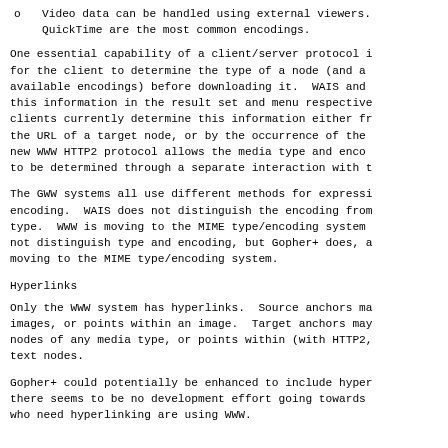o    Video data can be handled using external viewers. QuickTime are the most common encodings.
One essential capability of a client/server protocol is for the client to determine the type of a node (and a available encodings) before downloading it.  WAIS and this information in the result set and menu respectively clients currently determine this information either from the URL of a target node, or by the occurrence of the new WWW HTTP2 protocol allows the media type and encoding to be determined through a separate interaction with the
The GWW systems all use different methods for expressing encoding.  WAIS does not distinguish the encoding from type.  WWW is moving to the MIME type/encoding system not distinguish type and encoding, but Gopher+ does, a moving to the MIME type/encoding system.
Hyperlinks
Only the WWW system has hyperlinks.  Source anchors may images, or points within an image.  Target anchors may nodes of any media type, or points within (with HTTP2, text nodes.
Gopher+ could potentially be enhanced to include hyperlinks there seems to be no development effort going towards who need hyperlinking are using WWW.